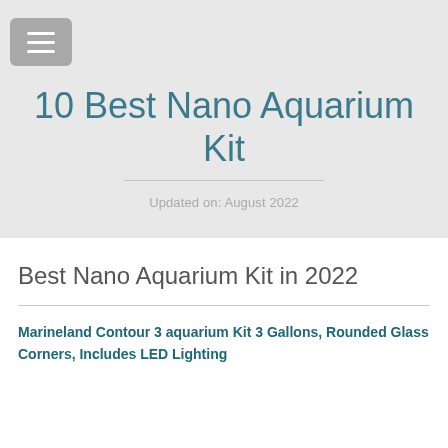[Figure (other): Hamburger menu icon button with three horizontal white lines on a grey rounded-rectangle background]
10 Best Nano Aquarium Kit
Updated on: August 2022
Best Nano Aquarium Kit in 2022
Marineland Contour 3 aquarium Kit 3 Gallons, Rounded Glass Corners, Includes LED Lighting